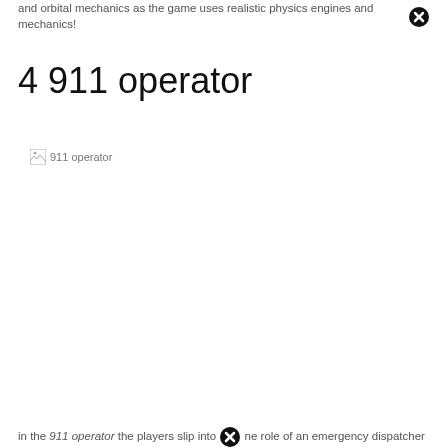and orbital mechanics as the game uses realistic physics engines and mechanics!
4 911 operator
[Figure (illustration): Broken image placeholder labeled '911 operator']
in the 911 operator the players slip into the role of an emergency dispatcher